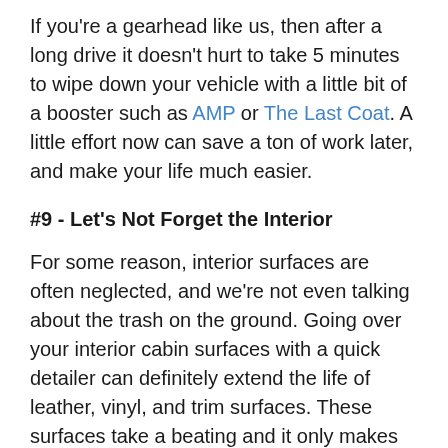If you're a gearhead like us, then after a long drive it doesn't hurt to take 5 minutes to wipe down your vehicle with a little bit of a booster such as AMP or The Last Coat. A little effort now can save a ton of work later, and make your life much easier.
#9 - Let's Not Forget the Interior
For some reason, interior surfaces are often neglected, and we're not even talking about the trash on the ground. Going over your interior cabin surfaces with a quick detailer can definitely extend the life of leather, vinyl, and trim surfaces. These surfaces take a beating and it only makes sense. Ideally, use a product that does not artificially shine the dashboard as this can be a distraction when driving. The Last Coat and AMP are